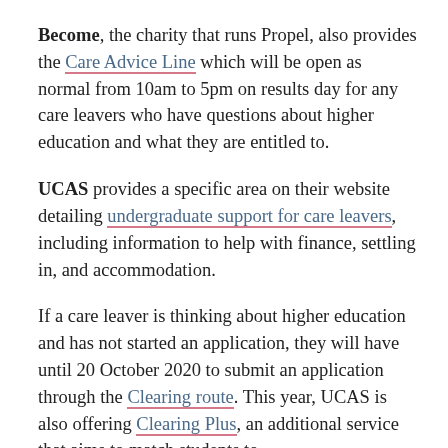Become, the charity that runs Propel, also provides the Care Advice Line which will be open as normal from 10am to 5pm on results day for any care leavers who have questions about higher education and what they are entitled to.
UCAS provides a specific area on their website detailing undergraduate support for care leavers, including information to help with finance, settling in, and accommodation.
If a care leaver is thinking about higher education and has not started an application, they will have until 20 October 2020 to submit an application through the Clearing route. This year, UCAS is also offering Clearing Plus, an additional service that aims to match students to